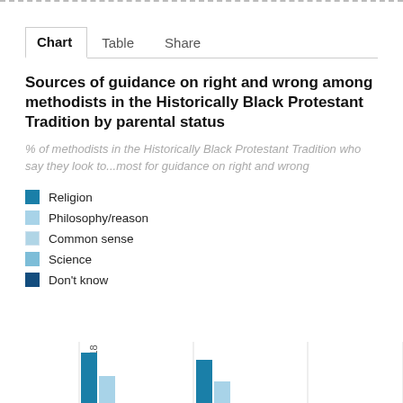Chart   Table   Share
Sources of guidance on right and wrong among methodists in the Historically Black Protestant Tradition by parental status
% of methodists in the Historically Black Protestant Tradition who say they look to...most for guidance on right and wrong
Religion
Philosophy/reason
Common sense
Science
Don't know
[Figure (grouped-bar-chart): Partially visible grouped bar chart at the bottom of the page showing bars (teal/blue colors) with x-axis label 'en under 18' (children under 18) visible, chart is cut off at bottom]